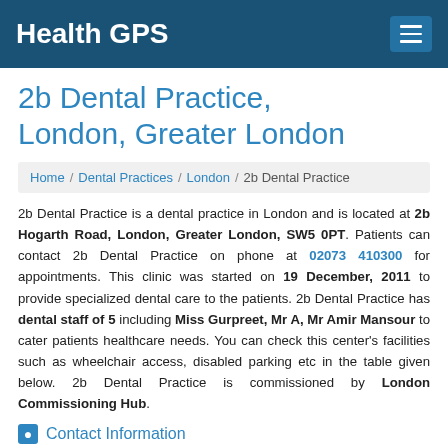Health GPS
2b Dental Practice, London, Greater London
Home / Dental Practices / London / 2b Dental Practice
2b Dental Practice is a dental practice in London and is located at 2b Hogarth Road, London, Greater London, SW5 0PT. Patients can contact 2b Dental Practice on phone at 02073 410300 for appointments. This clinic was started on 19 December, 2011 to provide specialized dental care to the patients. 2b Dental Practice has dental staff of 5 including Miss Gurpreet, Mr A, Mr Amir Mansour to cater patients healthcare needs. You can check this center's facilities such as wheelchair access, disabled parking etc in the table given below. 2b Dental Practice is commissioned by London Commissioning Hub.
Contact Information